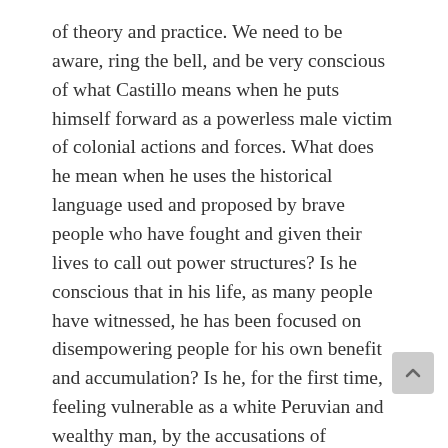of theory and practice. We need to be aware, ring the bell, and be very conscious of what Castillo means when he puts himself forward as a powerless male victim of colonial actions and forces. What does he mean when he uses the historical language used and proposed by brave people who have fought and given their lives to call out power structures? Is he conscious that in his life, as many people have witnessed, he has been focused on disempowering people for his own benefit and accumulation? Is he, for the first time, feeling vulnerable as a white Peruvian and wealthy man, by the accusations of powerless women? Is this the first time he feels that structures he built are threatening him?
We cannot let this letter and chosen language be accepted as an innocent appeal. It needs to be placed into context. The reality is that many